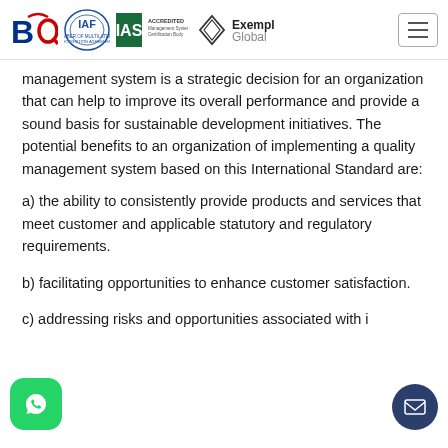BQ | IAF | IAS | Exemplar Global logos and hamburger menu
management system is a strategic decision for an organization that can help to improve its overall performance and provide a sound basis for sustainable development initiatives. The potential benefits to an organization of implementing a quality management system based on this International Standard are:
a) the ability to consistently provide products and services that meet customer and applicable statutory and regulatory requirements.
b) facilitating opportunities to enhance customer satisfaction.
c) addressing risks and opportunities associated with i...